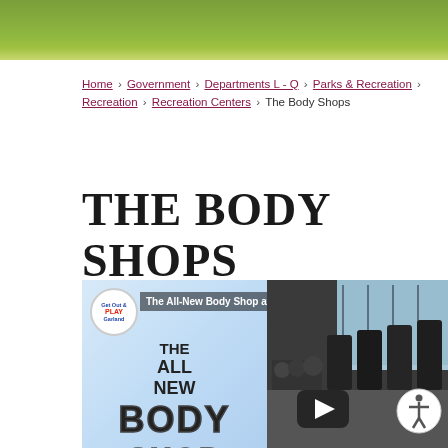[Figure (photo): Green grass field hero image at the top of the page]
Home › Government › Departments L - Q › Parks & Recreation › Recreation › Recreation Centers › The Body Shops
THE BODY SHOPS
[Figure (screenshot): Embedded YouTube video thumbnail for 'The All-New Body Shop at Audubon Recreation' featuring a gym interior with treadmills and a play/pause button overlay]